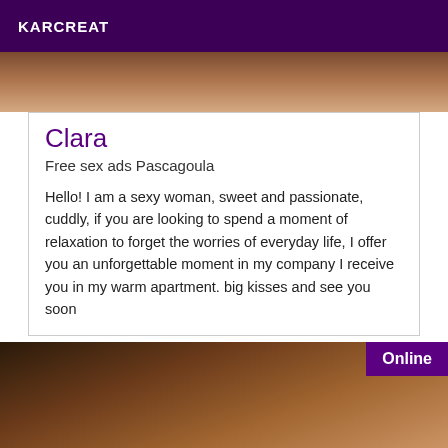KARCREAT
[Figure (photo): Partial photo of a person, cropped view, warm tones]
Clara
Free sex ads Pascagoula
Hello! I am a sexy woman, sweet and passionate, cuddly, if you are looking to spend a moment of relaxation to forget the worries of everyday life, I offer you an unforgettable moment in my company I receive you in my warm apartment. big kisses and see you soon
[Figure (photo): Close-up photo, warm skin tones, soft focus, 'Online' badge in top right corner]